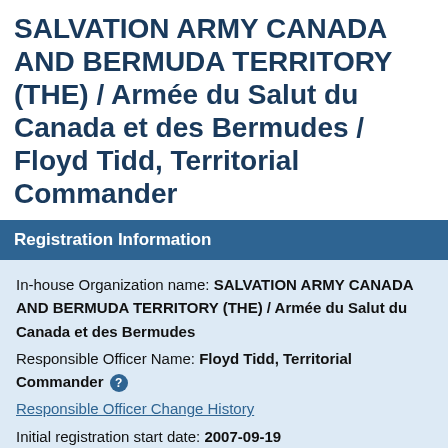SALVATION ARMY CANADA AND BERMUDA TERRITORY (THE) / Armée du Salut du Canada et des Bermudes / Floyd Tidd, Territorial Commander
Registration Information
In-house Organization name: SALVATION ARMY CANADA AND BERMUDA TERRITORY (THE) / Armée du Salut du Canada et des Bermudes
Responsible Officer Name: Floyd Tidd, Territorial Commander ?
Responsible Officer Change History
Initial registration start date: 2007-09-19
Registration status: Active
Registration Number: 944823-15980